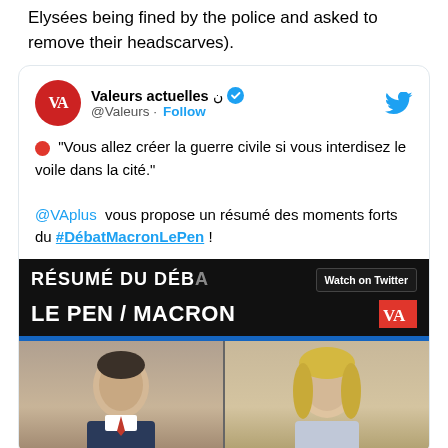Elysées being fined by the police and asked to remove their headscarves).
[Figure (screenshot): Embedded tweet from @Valeurs (Valeurs actuelles) showing a red circle emoji followed by quote 'Vous allez créer la guerre civile si vous interdisez le voile dans la cité.' and text '@VAplus vous propose un résumé des moments forts du #DébatMacronLePen !' with a video thumbnail showing 'RÉSUMÉ DU DÉBAT LE PEN / MACRON' with faces of two people below, and a 'Watch on Twitter' label.]